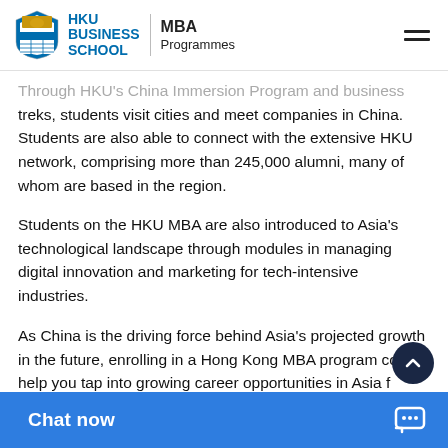HKU BUSINESS SCHOOL | MBA Programmes
Through HKU's China Immersion Program and business treks, students visit cities and meet companies in China. Students are also able to connect with the extensive HKU network, comprising more than 245,000 alumni, many of whom are based in the region.
Students on the HKU MBA are also introduced to Asia's technological landscape through modules in managing digital innovation and marketing for tech-intensive industries.
As China is the driving force behind Asia's projected growth in the future, enrolling in a Hong Kong MBA program could help you tap into growing career opportunities in Asia f...